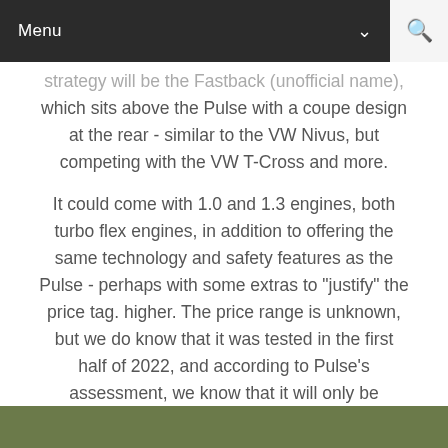Menu
strategy will be the Fastback (unofficial name), which sits above the Pulse with a coupe design at the rear - similar to the VW Nivus, but competing with the VW T-Cross and more.
It could come with 1.0 and 1.3 engines, both turbo flex engines, in addition to offering the same technology and safety features as the Pulse - perhaps with some extras to "justify" the price tag. higher. The price range is unknown, but we do know that it was tested in the first half of 2022, and according to Pulse's assessment, we know that it will only be exempt from IPI.
3. New generation Honda HR-V
[Figure (photo): Bottom strip showing partial photo of Honda HR-V]